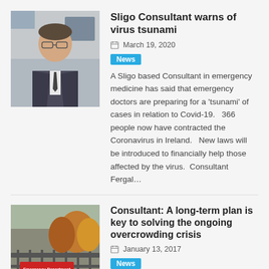Sligo Consultant warns of virus tsunami
March 19, 2020
News
A Sligo based Consultant in emergency medicine has said that emergency doctors are preparing for a ‘tsunami’ of cases in relation to Covid-19.   366 people now have contracted the Coronavirus in Ireland.   New laws will be introduced to financially help those affected by the virus.  Consultant Fergal...
[Figure (photo): Portrait photo of a man in a suit and tie, seated in an office environment]
Consultant: A long-term plan is key to solving the ongoing overcrowding crisis
January 13, 2017
News
[Figure (photo): Photo of an Emergency Department Entrance sign with an arrow, in front of a building with autumn trees]